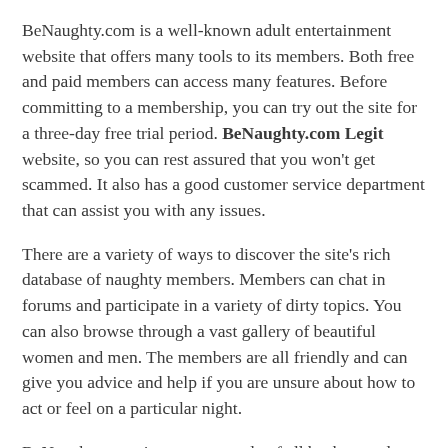BeNaughty.com is a well-known adult entertainment website that offers many tools to its members. Both free and paid members can access many features. Before committing to a membership, you can try out the site for a three-day free trial period. BeNaughty.com Legit website, so you can rest assured that you won't get scammed. It also has a good customer service department that can assist you with any issues.
There are a variety of ways to discover the site's rich database of naughty members. Members can chat in forums and participate in a variety of dirty topics. You can also browse through a vast gallery of beautiful women and men. The members are all friendly and can give you advice and help if you are unsure about how to act or feel on a particular night.
BeNaughty.com  is open to people of all backgrounds and sexual orientations. Its minimalist interface is easy to use and enables users to find people with varying sexual preferences. Whether you're an open-minded free spirit